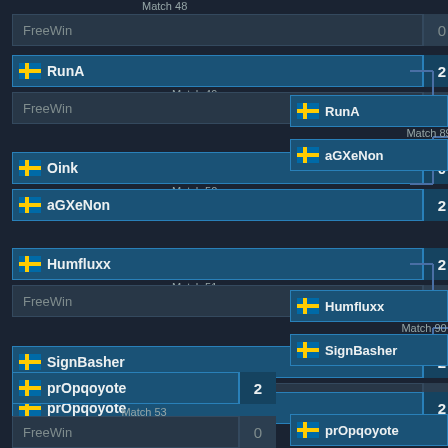[Figure (other): Tournament bracket showing match results. Match 48: FreeWin 0. Match 49: RunA 2, FreeWin 0. Match 50: Oink 0, aGXeNon 2. Match 51: Humfluxx 2, FreeWin 0. Match 52: SignBasher 2, FreeWin 0. Match 53: prOpqoyote 2, FreeWin 0. Match 89: RunA vs aGXeNon. Match 90: Humfluxx vs SignBasher. prOpqoyote advancing.]